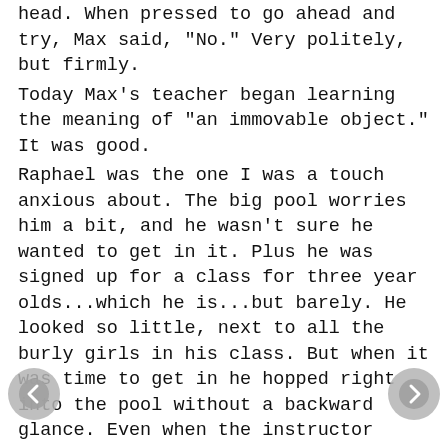head. When pressed to go ahead and try, Max said, "No." Very politely, but firmly.
Today Max's teacher began learning the meaning of "an immovable object." It was good.
Raphael was the one I was a touch anxious about. The big pool worries him a bit, and he wasn't sure he wanted to get in it. Plus he was signed up for a class for three year olds...which he is...but barely. He looked so little, next to all the burly girls in his class. But when it was time to get in he hopped right into the pool without a backward glance. Even when the instructor caught him and dunked his head under the water, Raphi took it with aplomb. He held onto the side of the pool when told to and seemed just delighted.
That lasted about five minutes.
Then the little girl next to him started kicking a bit too eagerly, splashing him.
"HEY! Stop DAT! Don' spwash ME!" He ordered sternly. The